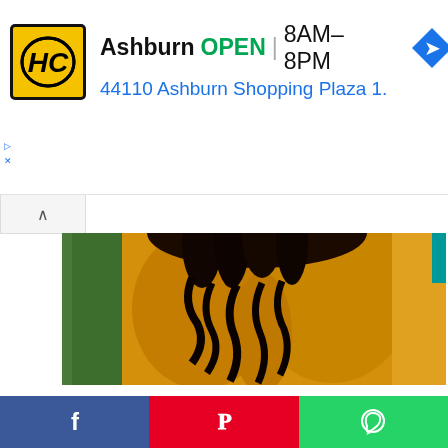[Figure (other): Advertisement banner for Hairclub - Ashburn location showing logo, OPEN status, hours 8AM-8PM, address 44110 Ashburn Shopping Plaza 1., and navigation arrow icon]
[Figure (photo): Close-up photo of a person with curly black hair wearing a yellow/mustard top, photographed from behind/side against green foliage background]
Welcome to The Curious Jalebi! I'm a blogger+ Youtuber who
[Figure (other): Social media share bar with Facebook (blue), Pinterest (red), and WhatsApp (green) buttons]